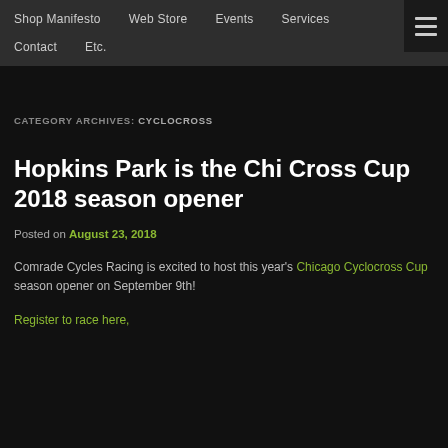Shop Manifesto | Web Store | Events | Services | Contact | Etc.
CATEGORY ARCHIVES: CYCLOCROSS
Hopkins Park is the Chi Cross Cup 2018 season opener
Posted on August 23, 2018
Comrade Cycles Racing is excited to host this year's Chicago Cyclocross Cup season opener on September 9th!
Register to race here,